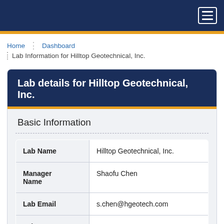Navigation bar with hamburger menu
Home | Dashboard
Lab Information for Hilltop Geotechnical, Inc.
Lab details for Hilltop Geotechnical, Inc.
Basic Information
| Field | Value |
| --- | --- |
| Lab Name | Hilltop Geotechnical, Inc. |
| Manager Name | Shaofu Chen |
| Lab Email | s.chen@hgeotech.com |
| Lab Telephone | 909-890-9079 |